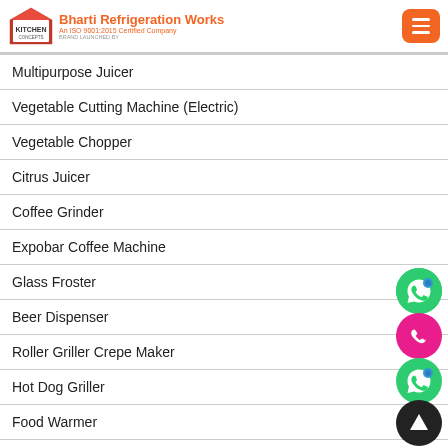Bharti Refrigeration Works — An ISO 9001:2015 Certified Company
Multipurpose Juicer
Vegetable Cutting Machine (Electric)
Vegetable Chopper
Citrus Juicer
Coffee Grinder
Expobar Coffee Machine
Glass Froster
Beer Dispenser
Roller Griller Crepe Maker
Hot Dog Griller
Food Warmer